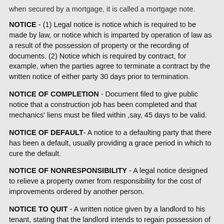when secured by a mortgage, it is called a mortgage note.
NOTICE - (1) Legal notice is notice which is required to be made by law, or notice which is imparted by operation of law as a result of the possession of property or the recording of documents. (2) Notice which is required by contract, for example, when the parties agree to terminate a contract by the written notice of either party 30 days prior to termination.
NOTICE OF COMPLETION - Document filed to give public notice that a construction job has been completed and that mechanics' liens must be filed within ,say, 45 days to be valid.
NOTICE OF DEFAULT- A notice to a defaulting party that there has been a default, usually providing a grace period in which to cure the default.
NOTICE OF NONRESPONSIBILITY - A legal notice designed to relieve a property owner from responsibility for the cost of improvements ordered by another person.
NOTICE TO QUIT - A written notice given by a landlord to his tenant, stating that the landlord intends to regain possession of the leased premises and that the tenant is required to quit and remove himself from the premises either at the end of the lease term or immediately if there is a breach of lease or if the tenancy is at will or by sufferance; sometimes refers to the notice given by